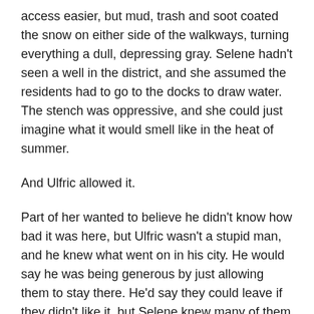access easier, but mud, trash and soot coated the snow on either side of the walkways, turning everything a dull, depressing gray. Selene hadn't seen a well in the district, and she assumed the residents had to go to the docks to draw water. The stench was oppressive, and she could just imagine what it would smell like in the heat of summer.
And Ulfric allowed it.
Part of her wanted to believe he didn't know how bad it was here, but Ulfric wasn't a stupid man, and he knew what went on in his city. He would say he was being generous by just allowing them to stay there. He'd say they could leave if they didn't like it, but Selene knew many of them had nowhere else to go. She was starting to understand just how they felt.
Aval stepped back outside, crestfallen. “I'm sorry, Selene,”